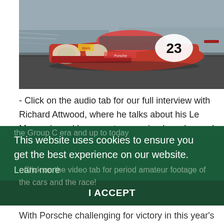[Figure (photo): A red Porsche racing car numbered 23 speeding on a racetrack, motion-blurred background]
- Click on the audio tab for our full interview with Richard Attwood, where he talks about his Le Mans win and how sportscar racing has changed through the Group C era and up to today
This website uses cookies to ensure you get the best experience on our website.
Learn more
- Click on the video tab for period amateur footage of the cars and the race!
I ACCEPT
With Porsche challenging for victory in this year's